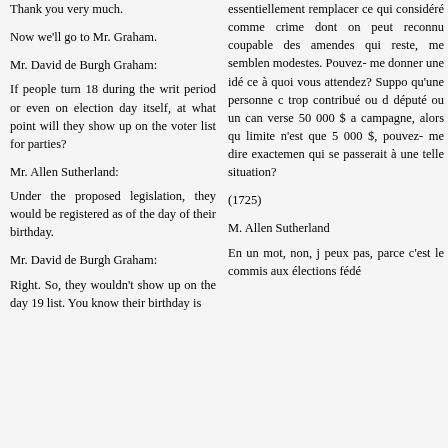Thank you very much.
essentiellement remplacer ce qui considéré comme crime dont on peut reconnu coupable des amendes qui reste, me semblen modestes. Pouvez- me donner une idé ce à quoi vous attendez? Suppo qu'une personne c trop contribué ou d député ou un can verse 50 000 $ a campagne, alors qu limite n'est que 5 000 $, pouvez- me dire exactemen qui se passerait à une telle situation?
Now we'll go to Mr. Graham.
Mr. David de Burgh Graham:
If people turn 18 during the writ period or even on election day itself, at what point will they show up on the voter list for parties?
Mr. Allen Sutherland:
Under the proposed legislation, they would be registered as of the day of their birthday.
Mr. David de Burgh Graham:
Right. So, they wouldn't show up on the day 19 list. You know their birthday is
(1725)
M. Allen Sutherland
En un mot, non, j peux pas, parce c'est le commis aux élections fédé